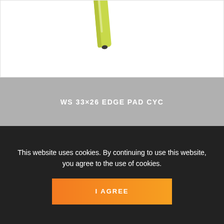[Figure (photo): Yellow/lime-colored pencil or tube product on white background, partially visible from top]
WS 33×26 EDGE PAD CYC
33x26 BC
33x26 CBC
[Figure (illustration): Gray connector/clip icon placeholder and blue diagonal strip element representing a product image]
This website uses cookies. By continuing to use this website, you agree to the use of cookies.
I AGREE